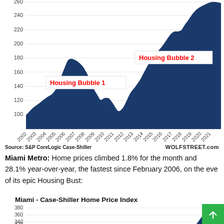[Figure (area-chart): Area chart showing Case-Shiller Home Price Index from 2002 to 2021, with annotations for Housing Bubble 1 and Housing Bubble 2. Y-axis from 100 to 280+. Dark navy filled area.]
Source: S&P CoreLogic Case-Shiller    WOLFSTREET.com
Miami Metro: Home prices climbed 1.8% for the month and 28.1% year-over-year, the fastest since February 2006, on the eve of its epic Housing Bust:
[Figure (area-chart): Partial area chart showing Miami Case-Shiller Home Price Index, y-axis showing 320, 340, 360, 380. Chart is cut off at bottom of page.]